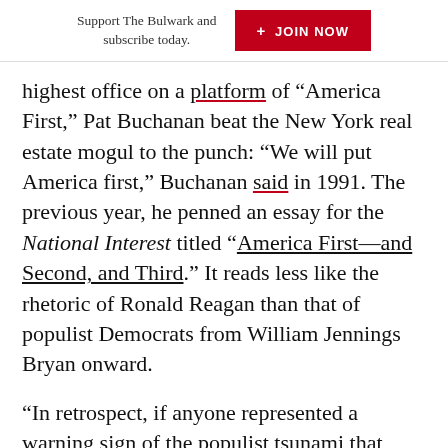Support The Bulwark and subscribe today.  + JOIN NOW
highest office on a platform of “America First,” Pat Buchanan beat the New York real estate mogul to the punch: “We will put America first,” Buchanan said in 1991. The previous year, he penned an essay for the National Interest titled “America First—and Second, and Third.” It reads less like the rhetoric of Ronald Reagan than that of populist Democrats from William Jennings Bryan onward.
“In retrospect, if anyone represented a warning sign of the populist tsunami that would hit the Republican Party two decades later, it was Buchanan,” writes the Wall Street Journal’s Gerald